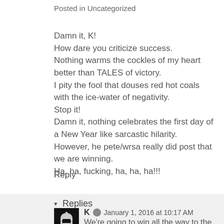Posted in Uncategorized
Damn it, K!
How dare you criticize success.
Nothing warms the cockles of my heart better than TALES of victory.
I pity the fool that douses red hot coals with the ice-water of negativity.
Stop it!
Damn it, nothing celebrates the first day of a New Year like sarcastic hilarity.
However, he pete/wrsa really did post that we are winning.
Ha, ha, fucking, ha, ha, ha!!!
Reply
Replies
K  January 1, 2016 at 10:17 AM
We're going to win all the way to the over